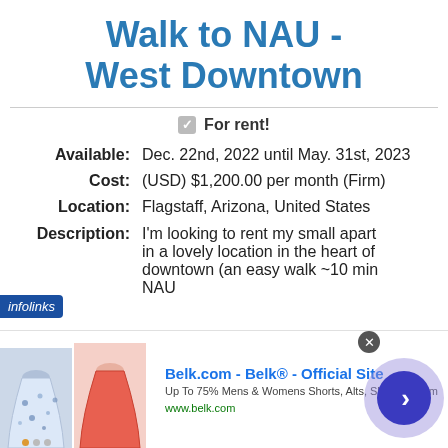Walk to NAU - West Downtown
For rent!
Available: Dec. 22nd, 2022 until May. 31st, 2023
Cost: (USD) $1,200.00 per month (Firm)
Location: Flagstaff, Arizona, United States
Description: I'm looking to rent my small apart... in a lovely location in the heart of downtown (an easy walk ~10 min NAU
[Figure (other): Facebook and Twitter social share sidebar buttons]
infolinks
[Figure (other): Advertisement banner: Belk.com - Belk® - Official Site. Up To 75% Mens & Womens Shorts, Alts, Skirts & Swim. www.belk.com. Shows two skirt product images and a circular arrow button.]